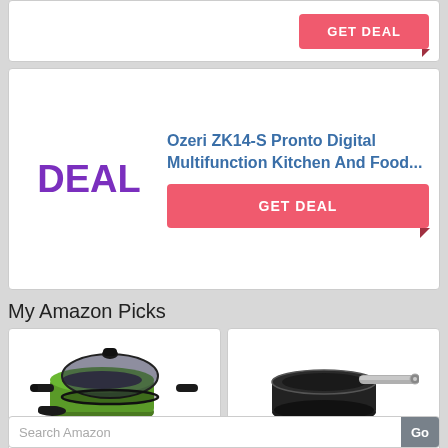[Figure (screenshot): GET DEAL button (red/pink) from a deal card partially visible at top of page]
DEAL
Ozeri ZK14-S Pronto Digital Multifunction Kitchen And Food...
GET DEAL
My Amazon Picks
[Figure (photo): Green Ozeri sauce pan with glass lid and black handles]
Ozeri The Green Earth All-In-One Sauce Pan 100% APEO, Ge...
$35.74 ✓prime (397 reviews, 5 stars)
[Figure (photo): Black Ozeri non-stick fry pan with silver handle]
Ozeri Professional Series 10" Ceramic Earth Fry Pan, Hand...
$66.19 $86.56 ✓prime (336 reviews, 4.5 stars)
Search Amazon